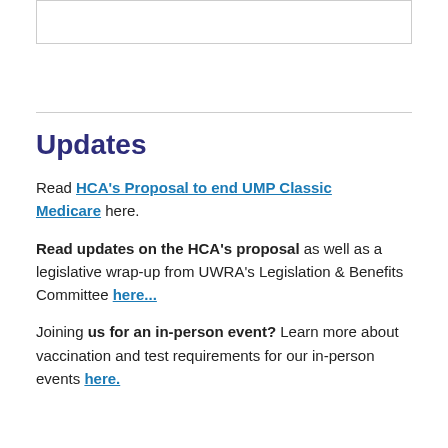Updates
Read HCA's Proposal to end UMP Classic Medicare here.
Read updates on the HCA's proposal as well as a legislative wrap-up from UWRA's Legislation & Benefits Committee here...
Joining us for an in-person event? Learn more about vaccination and test requirements for our in-person events here.